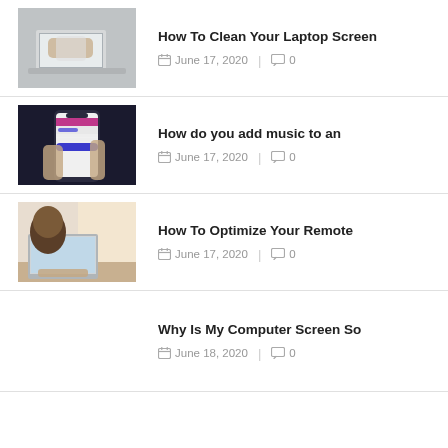[Figure (photo): Person cleaning laptop screen with cloth]
How To Clean Your Laptop Screen
June 17, 2020   |   0
[Figure (photo): Hand holding smartphone showing an app]
How do you add music to an
June 17, 2020   |   0
[Figure (photo): Woman working on laptop at desk]
How To Optimize Your Remote
June 17, 2020   |   0
Why Is My Computer Screen So
June 18, 2020   |   0